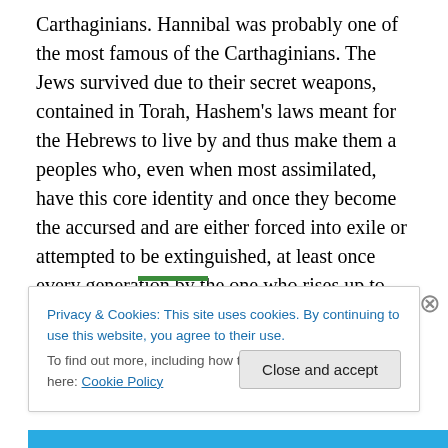Carthaginians. Hannibal was probably one of the most famous of the Carthaginians. The Jews survived due to their secret weapons, contained in Torah, Hashem's laws meant for the Hebrews to live by and thus make them a peoples who, even when most assimilated, have this core identity and once they become the accursed and are either forced into exile or attempted to be extinguished, at least once every generation by the one who rises up to oppress and kill us, they have their Torah to fall back upon and reestablish their peoplehood.
Privacy & Cookies: This site uses cookies. By continuing to use this website, you agree to their use.
To find out more, including how to control cookies, see here: Cookie Policy